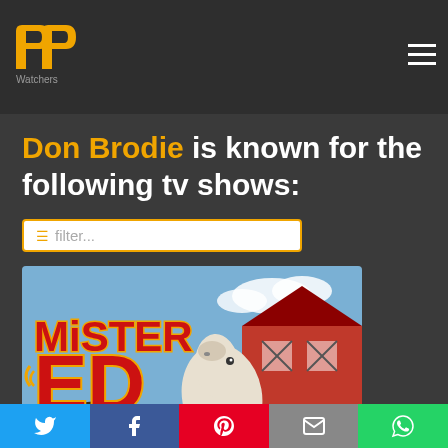PP Watchers logo and navigation menu
Don Brodie is known for the following tv shows:
[Figure (other): Filter search input box with orange border and placeholder text 'filter...']
[Figure (screenshot): Mister Ed TV show promotional image showing the show title logo and a horse with a barn in the background]
Social sharing buttons: Twitter, Facebook, Pinterest, Email, WhatsApp